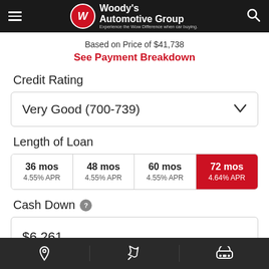Woody's Automotive Group - Experience the Wow Difference when car buying.
Based on Price of $41,738
See Payment Breakdown
Credit Rating
Very Good (700-739)
Length of Loan
| Term | APR |
| --- | --- |
| 36 mos | 4.55% APR |
| 48 mos | 4.55% APR |
| 60 mos | 4.55% APR |
| 72 mos | 4.64% APR |
Cash Down
$6,261
Navigation bar with location, wrench, and car icons